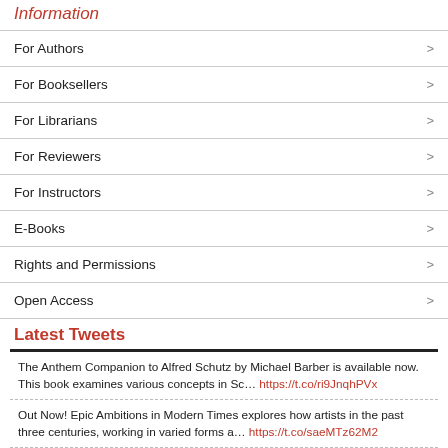Information
For Authors >
For Booksellers >
For Librarians >
For Reviewers >
For Instructors >
E-Books >
Rights and Permissions >
Open Access >
Latest Tweets
The Anthem Companion to Alfred Schutz by Michael Barber is available now. This book examines various concepts in Sc… https://t.co/ri9JnqhPVx
Out Now! Epic Ambitions in Modern Times explores how artists in the past three centuries, working in varied forms a… https://t.co/saeMTz62M2
Available now! Pathways to Action by Peter McAteer. This book is a strategic approach to accelerating action on cli… https://t.co/TkuSzHkbKU